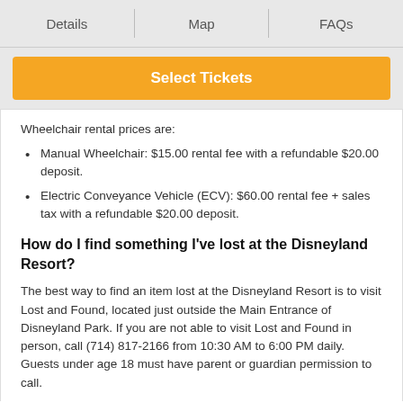Details | Map | FAQs
Select Tickets
Wheelchair rental prices are:
Manual Wheelchair: $15.00 rental fee with a refundable $20.00 deposit.
Electric Conveyance Vehicle (ECV): $60.00 rental fee + sales tax with a refundable $20.00 deposit.
How do I find something I've lost at the Disneyland Resort?
The best way to find an item lost at the Disneyland Resort is to visit Lost and Found, located just outside the Main Entrance of Disneyland Park. If you are not able to visit Lost and Found in person, call (714) 817-2166 from 10:30 AM to 6:00 PM daily. Guests under age 18 must have parent or guardian permission to call.